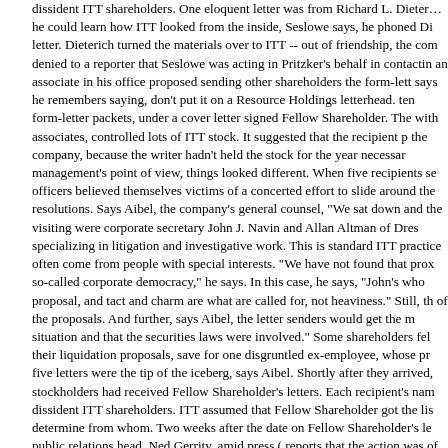dissident ITT shareholders. One eloquent letter was from Richard L. Dieterich he could learn how ITT looked from the inside, Seslowe says, he phoned Di letter. Dieterich turned the materials over to ITT -- out of friendship, the com denied to a reporter that Seslowe was acting in Pritzker's behalf in contactin an associate in his office proposed sending other shareholders the form-lett says he remembers saying, don't put it on a Resource Holdings letterhead. ten form-letter packets, under a cover letter signed Fellow Shareholder. The with associates, controlled lots of ITT stock. It suggested that the recipient p the company, because the writer hadn't held the stock for the year necessar management's point of view, things looked different. When five recipients se officers believed themselves victims of a concerted effort to slide around the resolutions. Says Aibel, the company's general counsel, "We sat down and the visiting were corporate secretary John J. Navin and Allan Altman of Dres specializing in litigation and investigative work. This is standard ITT practice often come from people with special interests. "We have not found that prox so-called corporate democracy," he says. In this case, he says, "John's who proposal, and tact and charm are what are called for, not heaviness." Still, th of the proposals. And further, says Aibel, the letter senders would get the m situation and that the securities laws were involved." Some shareholders fel their liquidation proposals, save for one disgruntled ex-employee, whose pr five letters were the tip of the iceberg, says Aibel. Shortly after they arrived, stockholders had received Fellow Shareholder's letters. Each recipient's nam dissident ITT shareholders. ITT assumed that Fellow Shareholder got the lis determine from whom. Two weeks after the date on Fellow Shareholder's le public relations head, Ned Gerrity, amid press ( reports that the action was of information to the press and to shareholders. Gerrity, who left the compa interviewed. THE LETTERS' PURPOSE, Aibel says, was not to get the come